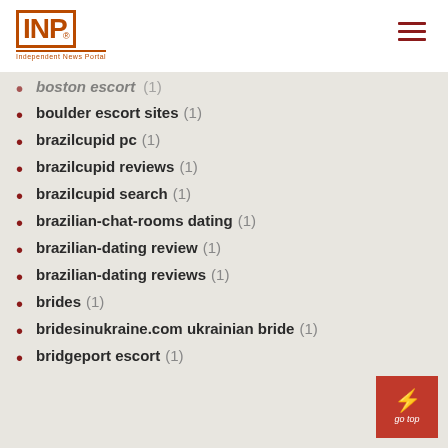INP logo and navigation header
boulder escort sites (1)
brazilcupid pc (1)
brazilcupid reviews (1)
brazilcupid search (1)
brazilian-chat-rooms dating (1)
brazilian-dating review (1)
brazilian-dating reviews (1)
brides (1)
bridesinukraine.com ukrainian bride (1)
bridgeport escort (1)